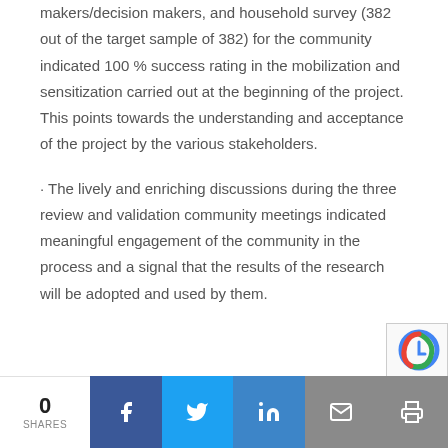makers/decision makers, and household survey (382 out of the target sample of 382) for the community indicated 100 % success rating in the mobilization and sensitization carried out at the beginning of the project. This points towards the understanding and acceptance of the project by the various stakeholders.
· The lively and enriching discussions during the three review and validation community meetings indicated meaningful engagement of the community in the process and a signal that the results of the research will be adopted and used by them.
0 SHARES | Facebook | Twitter | LinkedIn | Email | Print